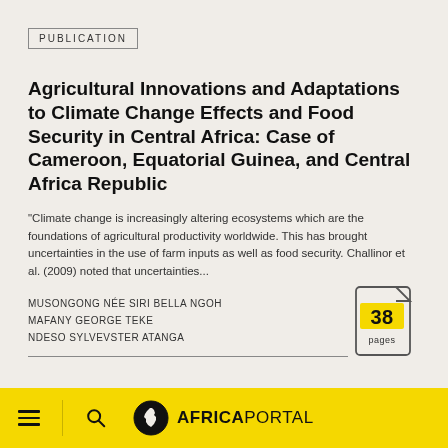PUBLICATION
Agricultural Innovations and Adaptations to Climate Change Effects and Food Security in Central Africa: Case of Cameroon, Equatorial Guinea, and Central Africa Republic
"Climate change is increasingly altering ecosystems which are the foundations of agricultural productivity worldwide. This has brought uncertainties in the use of farm inputs as well as food security. Challinor et al. (2009) noted that uncertainties...
MUSONGONG NÉE SIRI BELLA NGOH
MAFANY GEORGE TEKE
NDESO SYLVEVSTER ATANGA
[Figure (other): Document icon showing 38 pages count with yellow highlight]
≡  🔍  AFRICAPORTAL